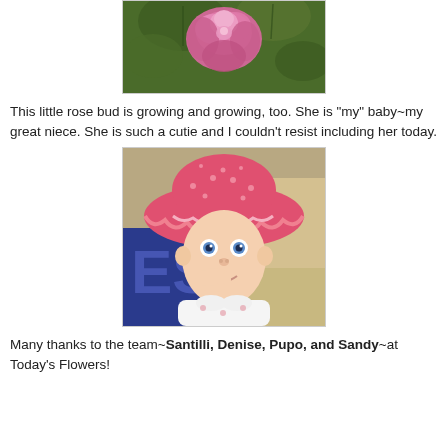[Figure (photo): A pink rose bloom with green leaves in the background, photographed close up.]
This little rose bud is growing and growing, too. She is "my" baby~my great niece. She is such a cutie and I couldn't resist including her today.
[Figure (photo): A baby wearing a pink polka-dot sun hat, looking at the camera with blue eyes and fingers near mouth.]
Many thanks to the team~Santilli, Denise, Pupo, and Sandy~at Today's Flowers!